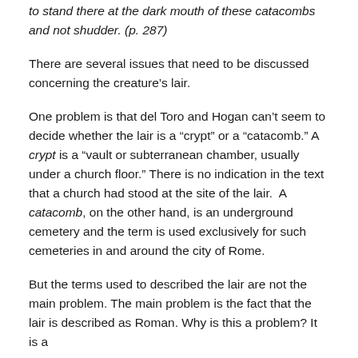to stand there at the dark mouth of these catacombs and not shudder. (p. 287)
There are several issues that need to be discussed concerning the creature’s lair.
One problem is that del Toro and Hogan can’t seem to decide whether the lair is a “crypt” or a “catacomb.” A crypt is a “vault or subterranean chamber, usually under a church floor.” There is no indication in the text that a church had stood at the site of the lair.  A catacomb, on the other hand, is an underground cemetery and the term is used exclusively for such cemeteries in and around the city of Rome.
But the terms used to described the lair are not the main problem. The main problem is the fact that the lair is described as Roman. Why is this a problem? It is a